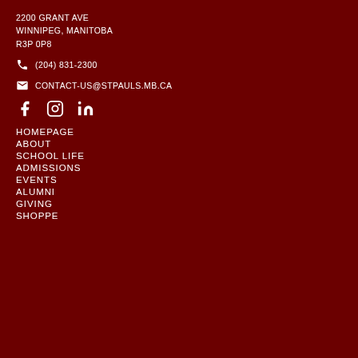2200 GRANT AVE
WINNIPEG, MANITOBA
R3P 0P8
(204) 831-2300
CONTACT-US@STPAULS.MB.CA
[Figure (other): Social media icons: Facebook, Instagram, LinkedIn]
HOMEPAGE
ABOUT
SCHOOL LIFE
ADMISSIONS
EVENTS
ALUMNI
GIVING
SHOPPE